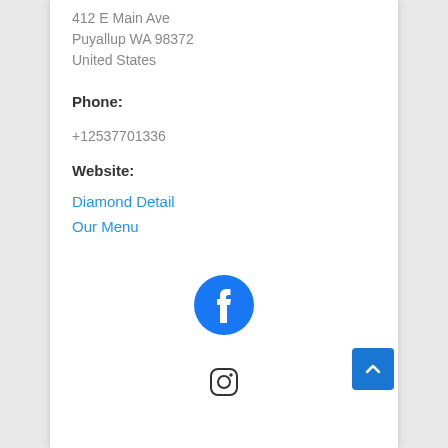412 E Main Ave
Puyallup WA 98372
United States
Phone:
+12537701336
Website:
Diamond Detail
Our Menu
[Figure (logo): Facebook icon - blue circle with white 'f' logo]
[Figure (logo): Instagram icon - partially visible at bottom of page]